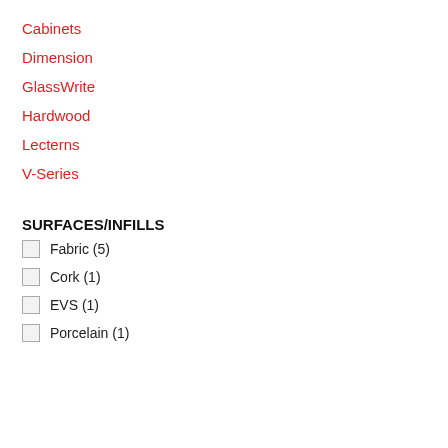Cabinets
Dimension
GlassWrite
Hardwood
Lecterns
V-Series
SURFACES/INFILLS
Fabric (5)
Cork (1)
EVS (1)
Porcelain (1)